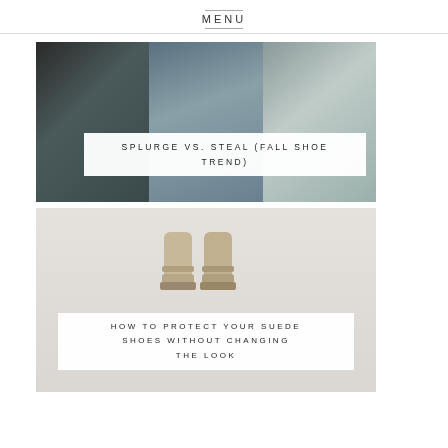MENU
[Figure (photo): Fashion street style collage with multiple photos of people wearing fall outfits and shoes, with a white text overlay box]
SPLURGE VS. STEAL (FALL SHOE TREND)
[Figure (photo): Light grey background photo of suede boots/shoes with a white text overlay box]
HOW TO PROTECT YOUR SUEDE SHOES WITHOUT CHANGING THE LOOK